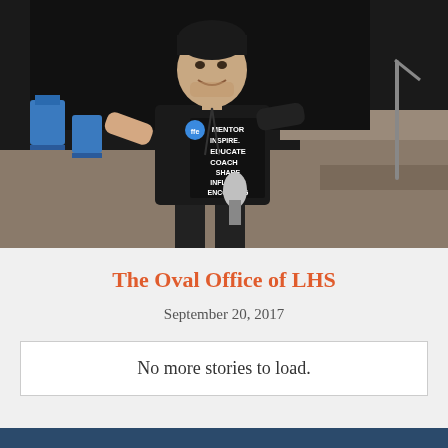[Figure (photo): A young man in a black t-shirt that reads MENTOR INSPIRE EDUCATE COACH SHARE INFLUENCE ENCOURAGE with a blue circular logo, holding a microphone, standing in front of a stage/auditorium with steps and blue chairs in background.]
The Oval Office of LHS
September 20, 2017
No more stories to load.